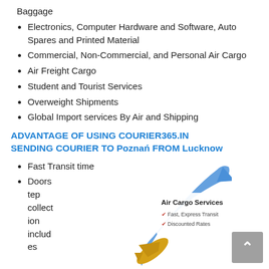Baggage
Electronics, Computer Hardware and Software, Auto Spares and Printed Material
Commercial, Non-Commercial, and Personal Air Cargo
Air Freight Cargo
Student and Tourist Services
Overweight Shipments
Global Import services By Air and Shipping
ADVANTAGE OF USING COURIER365.IN SENDING COURIER TO Poznań FROM Lucknow
Fast Transit time
Doors
tep
collect
ion
includ
es
[Figure (infographic): Air Cargo Services infographic showing an airplane with a blue arrow, text: Fast, Express Transit; Discounted Rates]